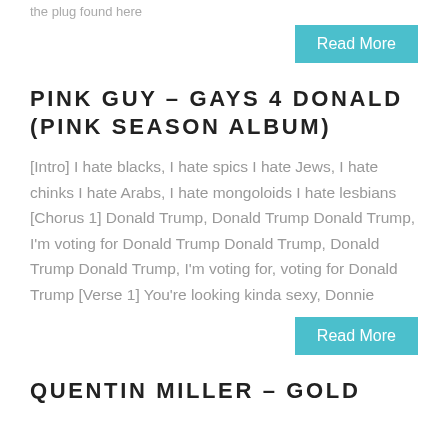the plug found here
Read More
PINK GUY – GAYS 4 DONALD (PINK SEASON ALBUM)
[Intro] I hate blacks, I hate spics I hate Jews, I hate chinks I hate Arabs, I hate mongoloids I hate lesbians [Chorus 1] Donald Trump, Donald Trump Donald Trump, I'm voting for Donald Trump Donald Trump, Donald Trump Donald Trump, I'm voting for, voting for Donald Trump [Verse 1] You're looking kinda sexy, Donnie
Read More
QUENTIN MILLER – GOLD